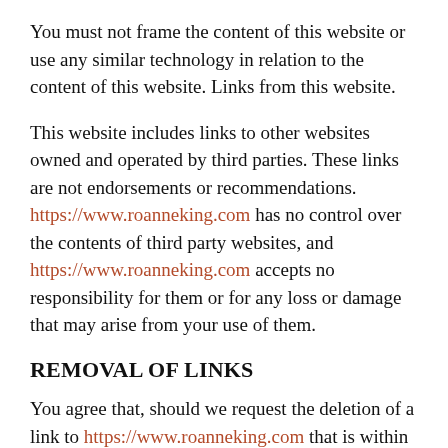You must not frame the content of this website or use any similar technology in relation to the content of this website. Links from this website.
This website includes links to other websites owned and operated by third parties. These links are not endorsements or recommendations. https://www.roanneking.com has no control over the contents of third party websites, and https://www.roanneking.com accepts no responsibility for them or for any loss or damage that may arise from your use of them.
REMOVAL OF LINKS
You agree that, should we request the deletion of a link to https://www.roanneking.com that is within your control, you will delete the link promptly. If you would like us to remove a link to your website